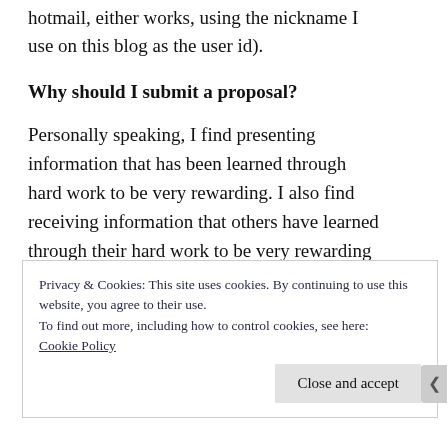hotmail, either works, using the nickname I use on this blog as the user id).
Why should I submit a proposal?
Personally speaking, I find presenting information that has been learned through hard work to be very rewarding.  I also find receiving information that others have learned through their hard work to be very rewarding as well.  It's all about the community participation and sharing of knowledge.  Aside
Privacy & Cookies: This site uses cookies. By continuing to use this website, you agree to their use.
To find out more, including how to control cookies, see here:
Cookie Policy
Close and accept